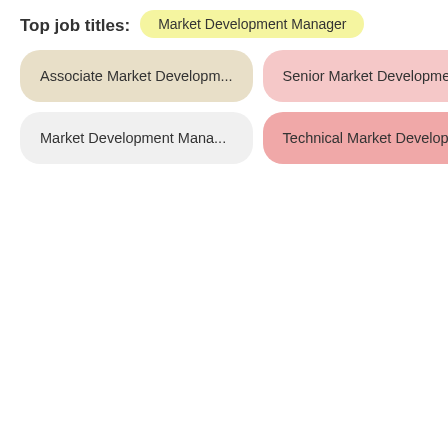Top job titles:
Market Development Manager
Associate Market Developm...
Senior Market Development...
Market Development Mana...
Technical Market Developm...